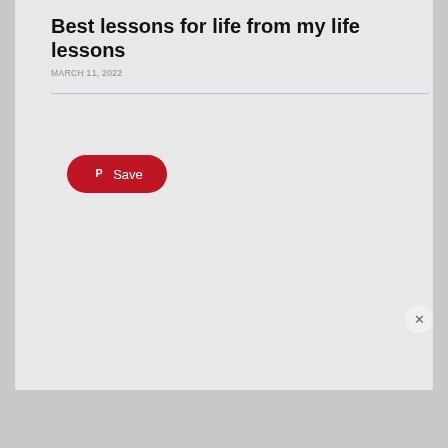Best lessons for life from my life lessons
MARCH 11, 2022
[Figure (screenshot): Pinterest Save button — red pill-shaped button with Pinterest logo and 'Save' label]